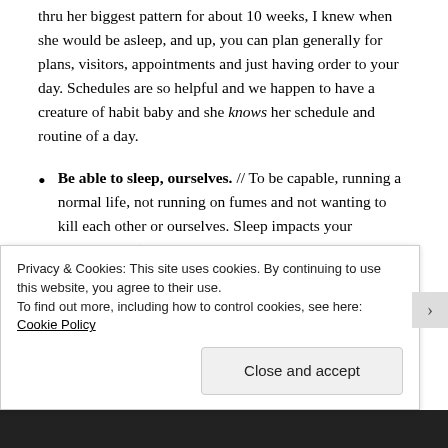thru her biggest pattern for about 10 weeks, I knew when she would be asleep, and up, you can plan generally for plans, visitors, appointments and just having order to your day. Schedules are so helpful and we happen to have a creature of habit baby and she knows her schedule and routine of a day.
Be able to sleep, ourselves. // To be capable, running a normal life, not running on fumes and not wanting to kill each other or ourselves. Sleep impacts your relationship (put her to bed and be
Privacy & Cookies: This site uses cookies. By continuing to use this website, you agree to their use.
To find out more, including how to control cookies, see here: Cookie Policy